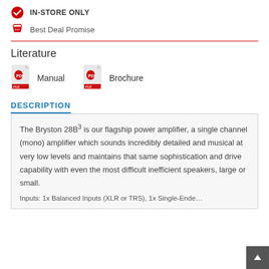IN-STORE ONLY
Best Deal Promise
Literature
Manual
Brochure
DESCRIPTION
The Bryston 28B³ is our flagship power amplifier, a single channel (mono) amplifier which sounds incredibly detailed and musical at very low levels and maintains that same sophistication and drive capability with even the most difficult inefficient speakers, large or small.
Inputs: 1x Balanced Inputs (XLR or TRS), 1x Single-Ende…